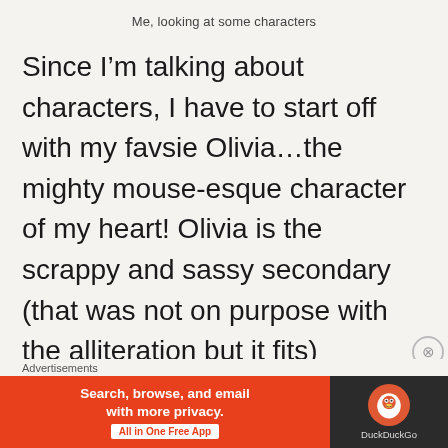Me, looking at some characters
Since I’m talking about characters, I have to start off with my favsie Olivia…the mighty mouse-esque character of my heart! Olivia is the scrappy and sassy secondary (that was not on purpose with the alliteration but it fits) character that we all deserve! From the
Advertisements
[Figure (screenshot): DuckDuckGo advertisement banner: orange left panel with text 'Search, browse, and email with more privacy. All in One Free App' and dark right panel with DuckDuckGo logo and name.]